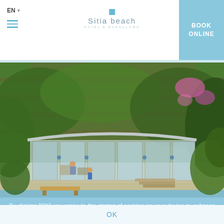EN
[Figure (logo): Sitia beach hotel logo with small blue square above stylized text]
BOOK ONLINE
[Figure (photo): Outdoor hotel terrace area with lush green terraced gardens on a hillside, glass-fronted building facade, guests seated outside, pool area in foreground, pink flowering plants visible]
By clicking "OK" you agree to the storing of cookies on your device to enhance site navigation, analyze site usage, and assist in our marketing efforts. Learn More
OK